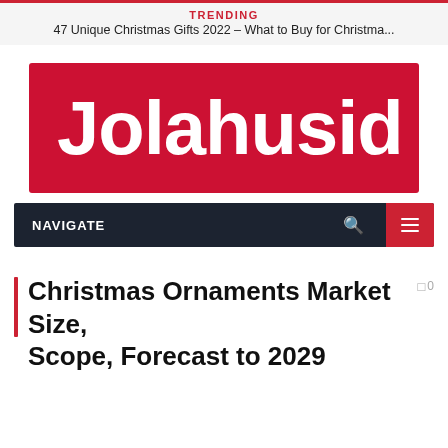TRENDING
47 Unique Christmas Gifts 2022 – What to Buy for Christma...
[Figure (logo): Jolahusid website logo: red banner with a yellow Christmas tree illustration on the left and white bold text 'Jolahusid' on the right]
NAVIGATE
Christmas Ornaments Market Size, Scope, Forecast to 2029